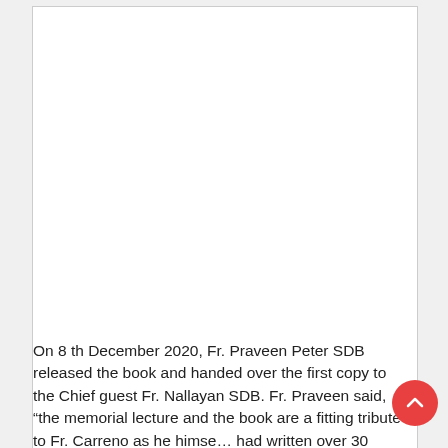[Figure (other): Book preview box with white image area showing a blank/white book cover, with SHARE and PREVIEW buttons at the bottom]
On 8 th December 2020, Fr. Praveen Peter SDB released the book and handed over the first copy to the Chief guest Fr. Nallayan SDB. Fr. Praveen said, “the memorial lecture and the book are a fitting tribute to Fr. Carreno as he himself had written over 30 books, most of which dealt with practical